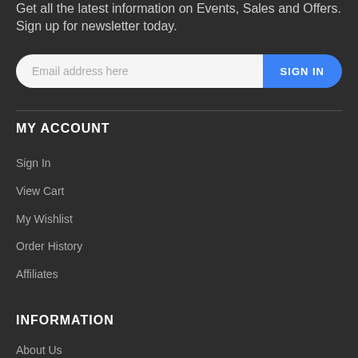Get all the latest information on Events, Sales and Offers. Sign up for newsletter today.
Email address here | SIGN IN
MY ACCOUNT
Sign In
View Cart
My Wishlist
Order History
Affiliates
INFORMATION
About Us